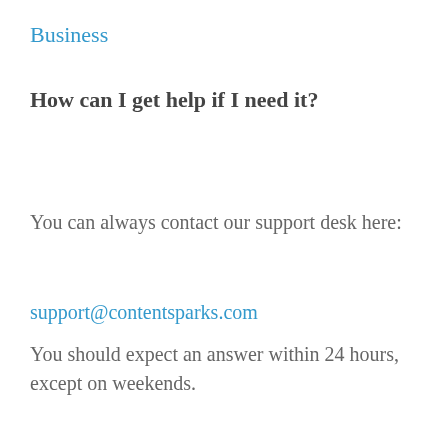Business
How can I get help if I need it?
You can always contact our support desk here:
support@contentsparks.com
You should expect an answer within 24 hours, except on weekends.